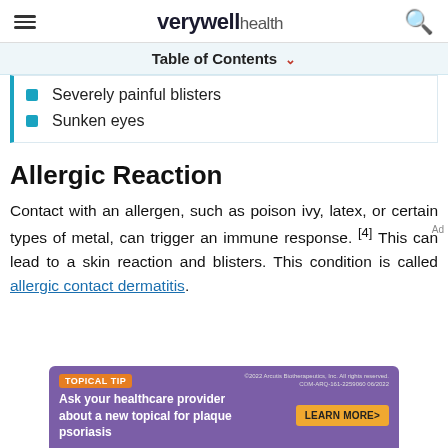verywell health
Table of Contents
Severely painful blisters
Sunken eyes
Allergic Reaction
Contact with an allergen, such as poison ivy, latex, or certain types of metal, can trigger an immune response.[4] This can lead to a skin reaction and blisters. This condition is called allergic contact dermatitis.
[Figure (advertisement): Purple ad banner: TOPICAL TIP - Ask your healthcare provider about a new topical for plaque psoriasis, with LEARN MORE button]